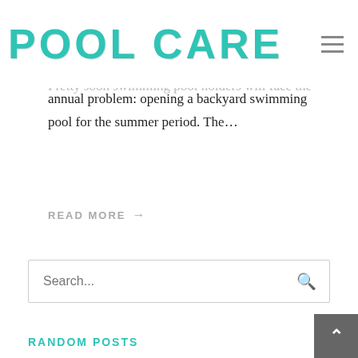[Figure (logo): Pool Care logo in teal/turquoise cracked texture font with hamburger menu icon top right]
Pretty soon swimming pool holders will face the annual problem: opening a backyard swimming pool for the summer period. The…
READ MORE →
[Figure (screenshot): Search input box with placeholder text 'Search...' and a search icon on the right]
RANDOM POSTS
[Figure (photo): Thumbnail photo of a swimming pool area with blue water and surrounding landscape]
PH OF A POOL
August 18, 2022